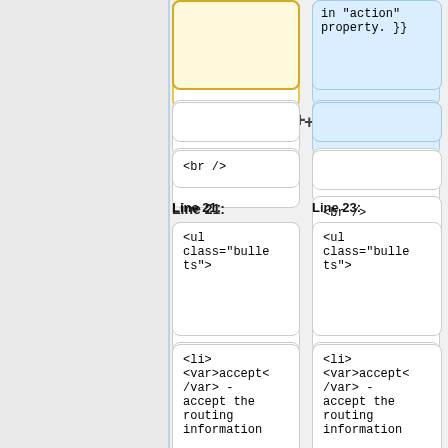[Figure (screenshot): Diff view showing two columns of code. Left column has yellow-bordered boxes (old code), right column has blue-highlighted boxes (new code). Rows show: a blue-bg box with 'in "action" property. }}', a blue-bg empty box with '+' indicator, empty boxes, '<br />' boxes, 'Line 21:'/'Line 23:' labels, '<ul class="bullets">' boxes, '<li><var>accept</var> - accept the routing information' boxes, and '<li><var>discard' boxes at bottom. Left sidebar is plain grey.]